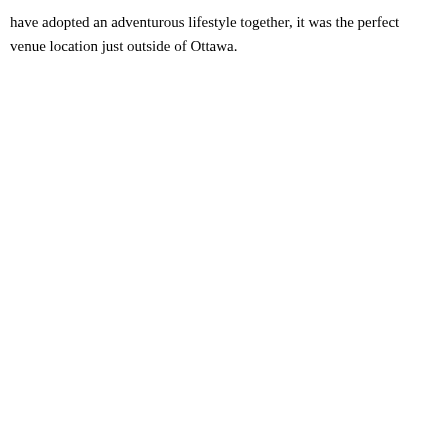have adopted an adventurous lifestyle together, it was the perfect venue location just outside of Ottawa.